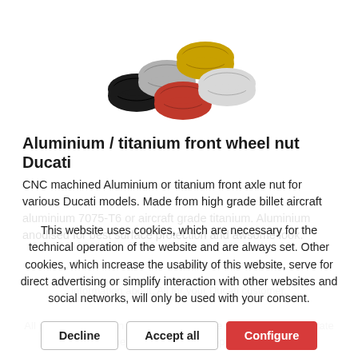[Figure (photo): Five anodised aluminium/titanium wheel nuts in various colors: black, silver/grey, gold, red, and light silver, arranged in a loose cluster on white background.]
Aluminium / titanium front wheel nut Ducati
CNC machined Aluminium or titanium front axle nut for various Ducati models. Made from high grade billet aircraft aluminium 7075-T6 or aircraft grade titanium. Aluminium anodised for best surface protection and awsome look.
This website uses cookies, which are necessary for the technical operation of the website and are always set. Other cookies, which increase the usability of this website, serve for direct advertising or simplify interaction with other websites and social networks, will only be used with your consent.
All prices displayed in our webshop include German VAT at the rate of 19%. Customers from outside European Community do
Decline
Accept all
Configure